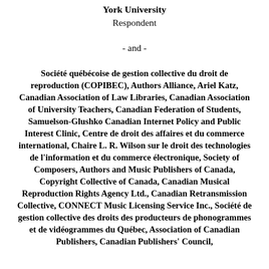York University
Respondent
- and -
Société québécoise de gestion collective du droit de reproduction (COPIBEC), Authors Alliance, Ariel Katz, Canadian Association of Law Libraries, Canadian Association of University Teachers, Canadian Federation of Students, Samuelson-Glushko Canadian Internet Policy and Public Interest Clinic, Centre de droit des affaires et du commerce international, Chaire L. R. Wilson sur le droit des technologies de l'information et du commerce électronique, Society of Composers, Authors and Music Publishers of Canada, Copyright Collective of Canada, Canadian Musical Reproduction Rights Agency Ltd., Canadian Retransmission Collective, CONNECT Music Licensing Service Inc., Société de gestion collective des droits des producteurs de phonogrammes et de vidéogrammes du Québec, Association of Canadian Publishers, Canadian Publishers' Council,